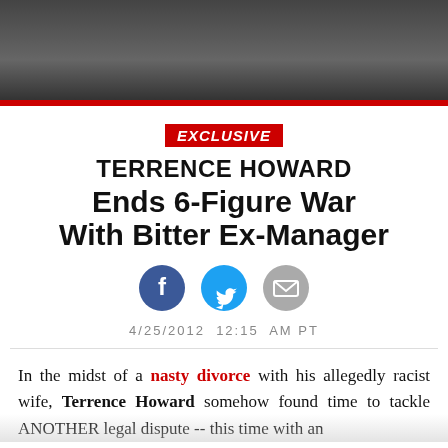[Figure (photo): Top portion of a photo showing a person in dark clothing near a vehicle, cropped]
EXCLUSIVE — TERRENCE HOWARD Ends 6-Figure War With Bitter Ex-Manager
4/25/2012  12:15  AM PT
In the midst of a nasty divorce with his allegedly racist wife, Terrence Howard somehow found time to tackle ANOTHER legal dispute -- this time with an